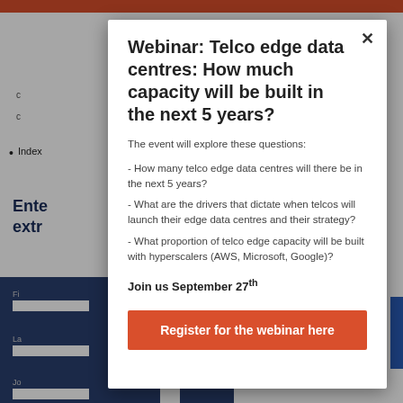[Figure (screenshot): A webpage screenshot showing a modal/popup dialog overlay on a partially visible website page. The background shows a navy blue registration form area and some bullet point content. The modal dialog contains a webinar advertisement.]
Webinar: Telco edge data centres: How much capacity will be built in the next 5 years?
The event will explore these questions:
- How many telco edge data centres will there be in the next 5 years?
- What are the drivers that dictate when telcos will launch their edge data centres and their strategy?
- What proportion of telco edge capacity will be built with hyperscalers (AWS, Microsoft, Google)?
Join us September 27th
Register for the webinar here